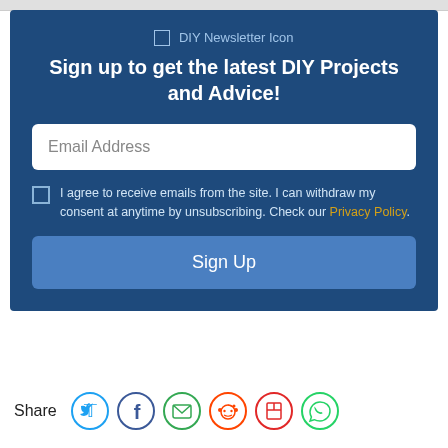[Figure (logo): DIY Newsletter Icon - small broken image placeholder with text 'DIY Newsletter Icon']
Sign up to get the latest DIY Projects and Advice!
Email Address (input field)
I agree to receive emails from the site. I can withdraw my consent at anytime by unsubscribing. Check our Privacy Policy.
Sign Up (button)
Share
[Figure (infographic): Social share icons: Twitter (blue circle), Facebook (blue circle), Email (green circle), Reddit (red circle), Flipboard (red circle), WhatsApp (green circle)]